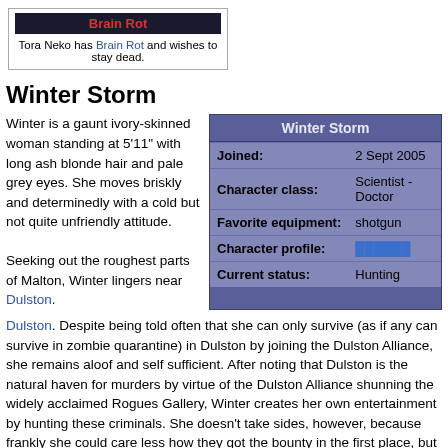[Figure (other): Dark banner image showing text 'Brain Rot' in red on dark background]
Tora Neko has Brain Rot and wishes to stay dead.
Winter Storm
Winter is a gaunt ivory-skinned woman standing at 5'11" with long ash blonde hair and pale grey eyes. She moves briskly and determinedly with a cold but not quite unfriendly attitude.

Seeking out the roughest parts of Malton, Winter lingers near Dulston.
| Field | Value |
| --- | --- |
| Joined: | 2 Sept 2005 |
| Character class: | Scientist - Doctor |
| Favorite equipment: | shotgun |
| Character profile: | [link] |
| Current status: | Hunting |
Despite being told often that she can only survive (as if any can survive in zombie quarantine) in Dulston by joining the Dulston Alliance, she remains aloof and self sufficient. After noting that Dulston is the natural haven for murders by virtue of the Dulston Alliance shunning the widely acclaimed Rogues Gallery, Winter creates her own entertainment by hunting these criminals. She doesn't take sides, however, because frankly she could care less how they got the bounty in the first place, but she does take a perverse pleasure in reporting new criminals to the Rogues Gallery authorities. These ambitions have made Winter quite unpopular in Dulston, only adding to her entertainment.
Disturbingly Cute